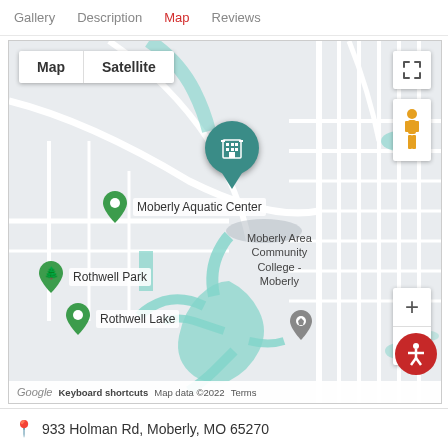Gallery  Description  Map  Reviews
[Figure (map): Google Map showing location in Moberly, Missouri. Map/Satellite toggle buttons visible at top left. Fullscreen button at top right. Teal location pin with building icon marks the main location. Green pins mark Moberly Aquatic Center, Rothwell Park, and Rothwell Lake. Gray pin marks Moberly Area Community College - Moberly. Pegman and zoom controls on right side. Accessibility button bottom right. Footer shows Google logo, Keyboard shortcuts, Map data ©2022, Terms.]
933 Holman Rd, Moberly, MO 65270